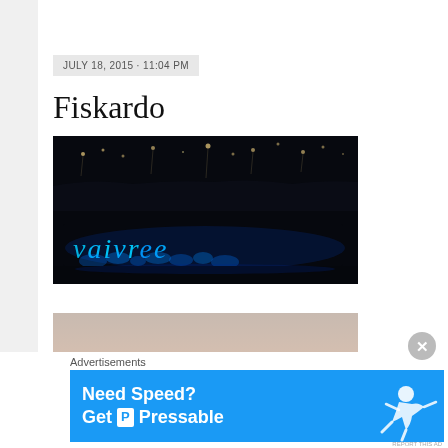JULY 18, 2015 · 11:04 PM
Fiskardo
[Figure (photo): Night photo showing blue glowing cursive letters on dark water with city lights reflected in background]
[Figure (photo): Daytime/dusk photo of a harbour with pink-grey sky and faint boat silhouettes]
Advertisements
[Figure (infographic): Advertisement banner: Need Speed? Get Pressable — blue background with person running/flying graphic]